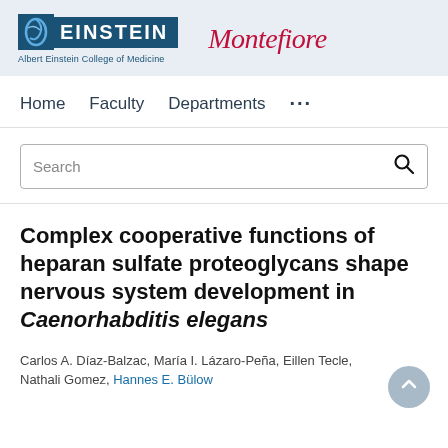[Figure (logo): Albert Einstein College of Medicine and Montefiore institutional logos side by side on a light blue-gray banner]
Home   Faculty   Departments   ...
Search
Complex cooperative functions of heparan sulfate proteoglycans shape nervous system development in Caenorhabditis elegans
Carlos A. Díaz-Balzac, María I. Lázaro-Peña, Eillen Tecle, Nathali Gomez, Hannes E. Bülow